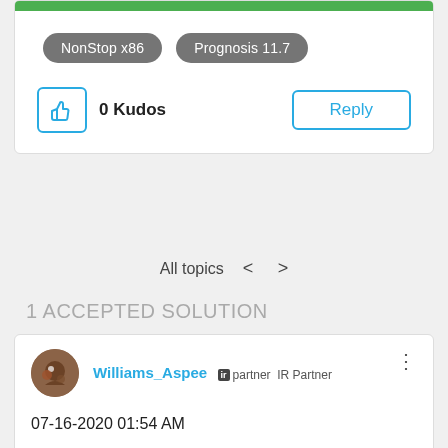[Figure (screenshot): Green bar at top of post card]
NonStop x86
Prognosis 11.7
0 Kudos
Reply
All topics < >
1 ACCEPTED SOLUTION
Williams_Aspee  ir partner  IR Partner
07-16-2020 01:54 AM